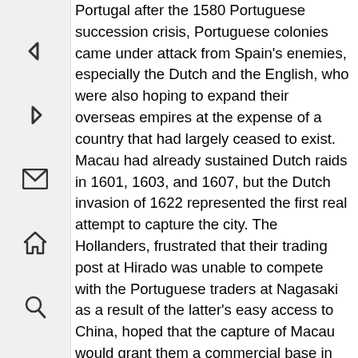[Figure (other): Left sidebar with navigation icons: back arrow, forward arrow, envelope/mail icon, home icon, search/magnifying glass icon]
Portugal after the 1580 Portuguese succession crisis, Portuguese colonies came under attack from Spain's enemies, especially the Dutch and the English, who were also hoping to expand their overseas empires at the expense of a country that had largely ceased to exist. Macau had already sustained Dutch raids in 1601, 1603, and 1607, but the Dutch invasion of 1622 represented the first real attempt to capture the city. The Hollanders, frustrated that their trading post at Hirado was unable to compete with the Portuguese traders at Nagasaki as a result of the latter's easy access to China, hoped that the capture of Macau would grant them a commercial base in China while at the same time deprive the Portuguese of the profitable Macau-Nagasaki route. The fall of Macau would also leave the Spaniards in the Philippines without means of support and make it easier